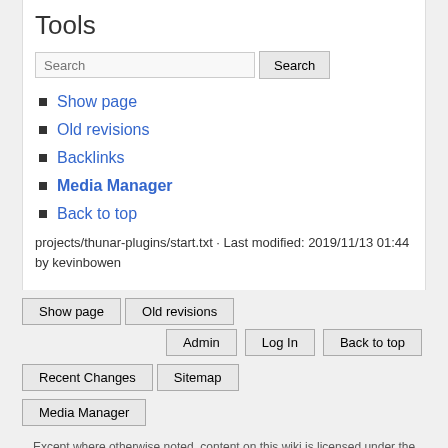Tools
Search [search button]
Show page
Old revisions
Backlinks
Media Manager
Back to top
projects/thunar-plugins/start.txt · Last modified: 2019/11/13 01:44 by kevinbowen
Show page | Old revisions | Admin | Log In | Back to top | Recent Changes | Sitemap | Media Manager | Except where otherwise noted, content on this wiki is licensed under the following license: CC Attribution-Noncommercial-Share Alike 4.0 International | Copyright 2003-2022 Xfce Development Team.